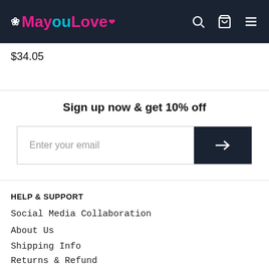MayouLove
$34.05
Sign up now & get 10% off
Enter your email
HELP & SUPPORT
Social Media Collaboration
About Us
Shipping Info
Returns & Refund